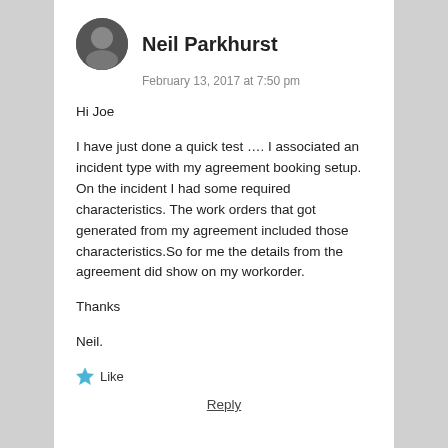[Figure (photo): Round avatar photo of Neil Parkhurst, showing a person with a dark background]
Neil Parkhurst
February 13, 2017 at 7:50 pm
Hi Joe
I have just done a quick test …. I associated an incident type with my agreement booking setup. On the incident I had some required characteristics. The work orders that got generated from my agreement included those characteristics.So for me the details from the agreement did show on my workorder.
Thanks
Neil.
★ Like
Reply